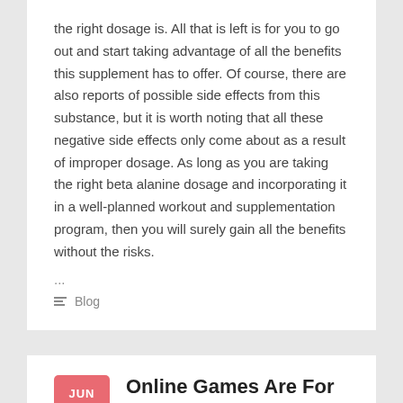the right dosage is. All that is left is for you to go out and start taking advantage of all the benefits this supplement has to offer. Of course, there are also reports of possible side effects from this substance, but it is worth noting that all these negative side effects only come about as a result of improper dosage. As long as you are taking the right beta alanine dosage and incorporating it in a well-planned workout and supplementation program, then you will surely gain all the benefits without the risks.
...
Blog
Online Games Are For Everyone
June 1, 2022  Admin